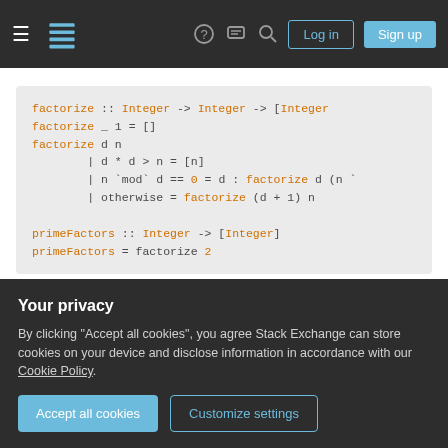Stack Exchange navigation bar with hamburger menu, logo, help, chat, search icons, Log in and Sign up buttons
factorize :: Integer -> Integer -> [Integer
factorize _ 1 = []
factorize d n
    | d * d > n = [n]
    | n `mod` d == 0 = d : factorize d (n `
    | otherwise = factorize (d + 1) n

primeFactors :: Integer -> [Integer]
primeFactors = factorize 2
It is also much more concise. The idea behind it is
Your privacy
By clicking "Accept all cookies", you agree Stack Exchange can store cookies on your device and disclose information in accordance with our Cookie Policy.
Accept all cookies    Customize settings